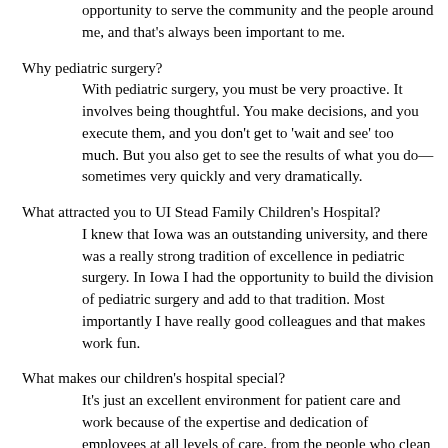opportunity to serve the community and the people around me, and that’s always been important to me.
Why pediatric surgery?

With pediatric surgery, you must be very proactive. It involves being thoughtful. You make decisions, and you execute them, and you don’t get to ‘wait and see’ too much. But you also get to see the results of what you do—sometimes very quickly and very dramatically.
What attracted you to UI Stead Family Children’s Hospital?

I knew that Iowa was an outstanding university, and there was a really strong tradition of excellence in pediatric surgery. In Iowa I had the opportunity to build the division of pediatric surgery and add to that tradition. Most importantly I have really good colleagues and that makes work fun.
What makes our children’s hospital special?

It’s just an excellent environment for patient care and work because of the expertise and dedication of employees at all levels of care, from the people who clean the rooms to nurses and doctors and others. It has all the new technologies, is state-of-the-art, and the whole team is together